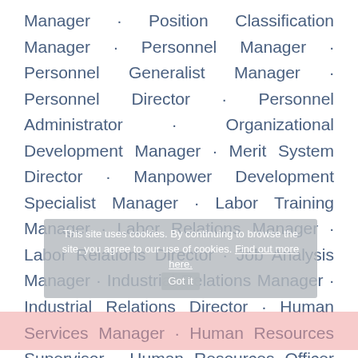Manager · Position Classification Manager · Personnel Manager · Personnel Generalist Manager · Personnel Director · Personnel Administrator · Organizational Development Manager · Merit System Director · Manpower Development Specialist Manager · Labor Training Manager · Labor Relations Manager · Labor Relations Director · Job Analysis Manager · Industrial Relations Manager · Industrial Relations Director · Human Services Manager · Human Resources Supervisor · Human Resources Officer (HR Officer) · Human Resources Generalist (HR Generalist) · Human Resources Coordinator (HR Coordinator) · Human Resources